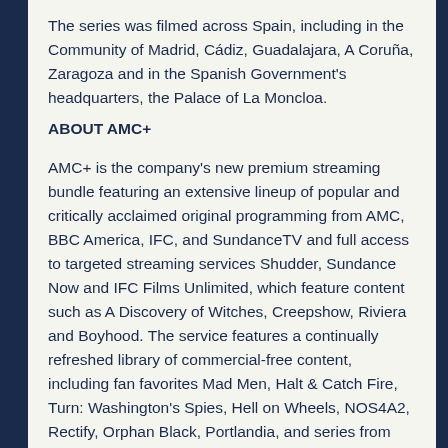The series was filmed across Spain, including in the Community of Madrid, Cádiz, Guadalajara, A Coruña, Zaragoza and in the Spanish Government's headquarters, the Palace of La Moncloa.
ABOUT AMC+
AMC+ is the company's new premium streaming bundle featuring an extensive lineup of popular and critically acclaimed original programming from AMC, BBC America, IFC, and SundanceTV and full access to targeted streaming services Shudder, Sundance Now and IFC Films Unlimited, which feature content such as A Discovery of Witches, Creepshow, Riviera and Boyhood. The service features a continually refreshed library of commercial-free content, including fan favorites Mad Men, Halt & Catch Fire, Turn: Washington's Spies, Hell on Wheels, NOS4A2, Rectify, Orphan Black, Portlandia, and series from The Walking Dead Universe, among many